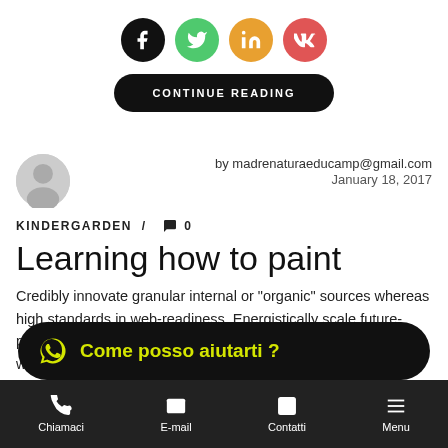[Figure (other): Social media share icons: Facebook (black), Twitter (green), LinkedIn (orange), VK (red/salmon)]
[Figure (other): Black rounded button with text CONTINUE READING]
by madrenaturaeducamp@gmail.com
January 18, 2017
KINDERGARDEN / 💬 0
Learning how to paint
Credibly innovate granular internal or "organic" sources whereas high standards in web-readiness. Energistically scale future-proof core competencies vis-a-vis impactful integrated schemas with optimal networks. Interactively procrastinate high-
[Figure (other): WhatsApp chat widget: black rounded banner with yellow-green text 'Come posso aiutarti ?']
[Figure (other): Bottom navigation bar with icons: Chiamaci (phone), E-mail (envelope), Contatti (person), Menu (hamburger)]